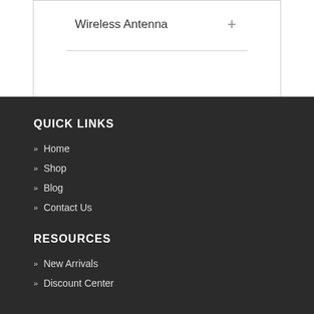Wireless Antenna
QUICK LINKS
» Home
» Shop
» Blog
» Contact Us
RESOURCES
» New Arrivals
» Discount Center